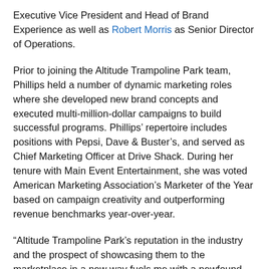Executive Vice President and Head of Brand Experience as well as Robert Morris as Senior Director of Operations.
Prior to joining the Altitude Trampoline Park team, Phillips held a number of dynamic marketing roles where she developed new brand concepts and executed multi-million-dollar campaigns to build successful programs. Phillips' repertoire includes positions with Pepsi, Dave & Buster's, and served as Chief Marketing Officer at Drive Shack. During her tenure with Main Event Entertainment, she was voted American Marketing Association's Marketer of the Year based on campaign creativity and outperforming revenue benchmarks year-over-year.
“Altitude Trampoline Park’s reputation in the industry and the prospect of showcasing them to the marketplace in a new way fuels me with a newfound